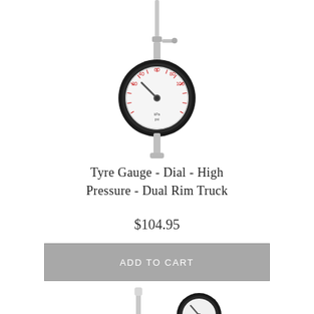[Figure (photo): Tyre gauge - dial type, high pressure, dual rim truck. Shows a circular dial gauge with black bezel, white face with red markings, and a metal stem/valve connector at top.]
Tyre Gauge - Dial - High Pressure - Dual Rim Truck
$104.95
ADD TO CART
[Figure (photo): Second tyre gauge product partially visible at bottom of page. Shows a long metal stem/probe on the left and a circular dial gauge with black housing and brass fittings on the right.]